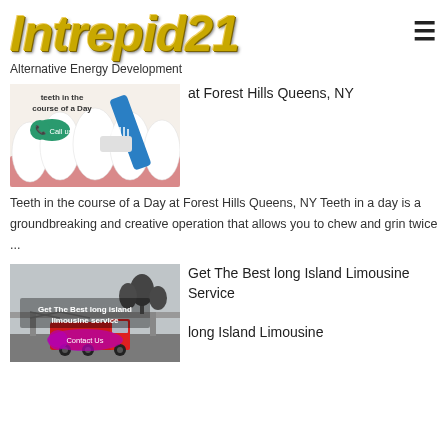Intrepid21 — Alternative Energy Development
[Figure (illustration): Dental illustration showing teeth and toothbrush with 'teeth in the course of a Day' and 'Call us' button]
at Forest Hills Queens, NY
Teeth in the course of a Day at Forest Hills Queens, NY Teeth in a day is a groundbreaking and creative operation that allows you to chew and grin twice ...
[Figure (photo): Photo of a red semi-truck on highway overpass with text 'Get The Best long island limousine service' and 'Contact Us' button]
Get The Best long Island Limousine Service
long Island Limousine